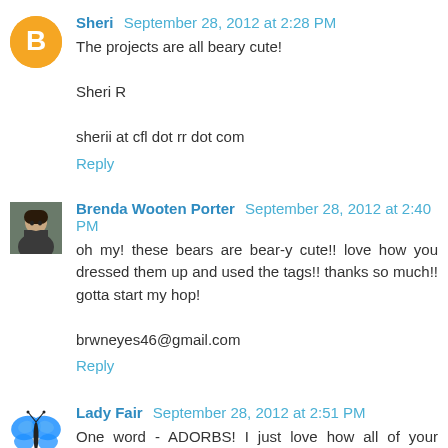[Figure (illustration): Blogger avatar icon - orange circle with white letter B]
Sheri September 28, 2012 at 2:28 PM
The projects are all beary cute!

Sheri R

sherii at cfl dot rr dot com
Reply
[Figure (photo): Profile photo of Brenda Wooten Porter - woman with dark hair]
Brenda Wooten Porter September 28, 2012 at 2:40 PM
oh my! these bears are bear-y cute!! love how you dressed them up and used the tags!! thanks so much!! gotta start my hop!

brwneyes46@gmail.com
Reply
[Figure (illustration): Butterfly avatar - blue morpho butterfly]
Lady Fair September 28, 2012 at 2:51 PM
One word - ADORBS! I just love how all of your stamps and